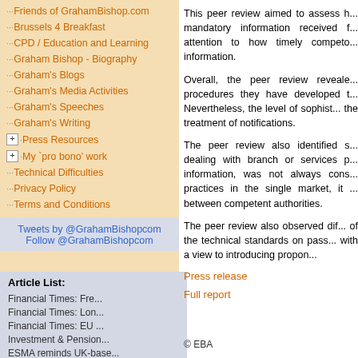Friends of GrahamBishop.com
Brussels 4 Breakfast
CPD / Education and Learning
Graham Bishop - Biography
Graham's Blogs
Graham's Media Activities
Graham's Speeches
Graham's Writing
Press Resources
My 'pro bono' work
Technical Difficulties
Privacy Policy
Terms and Conditions
Tweets by @GrahamBishopcom
Follow @GrahamBishopcom
Article List:
Financial Times: Fre...
Financial Times: Lon...
Financial Times: EU ...
Investment & Pension...
ESMA reminds UK-base...
Commercial Risk Euro...
This peer review aimed to assess how mandatory information received f... attention to how timely competo... information.
Overall, the peer review reveale... procedures they have developed t... Nevertheless, the level of sophist... the treatment of notifications.
The peer review also identified s... dealing with branch or services p... information, was not always cons... practices in the single market, it ... between competent authorities.
The peer review also observed dif... of the technical standards on pass... with a view to introducing propon...
Press release
Full report
© EBA